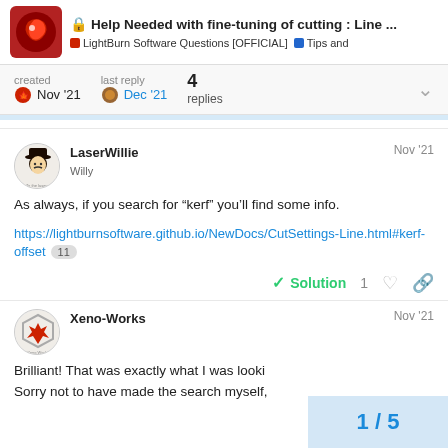Help Needed with fine-tuning of cutting : Line ... | LightBurn Software Questions [OFFICIAL] | Tips and
created Nov '21   last reply Dec '21   4 replies
LaserWillie Willy  Nov '21
As always, if you search for “kerf” you’ll find some info.
https://lightburnsoftware.github.io/NewDocs/CutSettings-Line.html#kerf-offset  11
Solution  1
Xeno-Works  Nov '21
Brilliant! That was exactly what I was looki
Sorry not to have made the search myself,
1 / 5